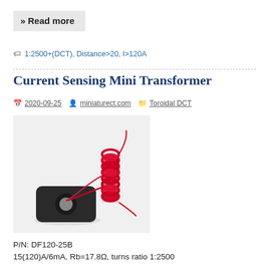» Read more
1:2500+(DCT), Distance>20, I>120A
Current Sensing Mini Transformer
2020-09-25   miniaturect.com   Toroidal DCT
[Figure (photo): Photo of a current sensing mini transformer: a small black toroidal core clamp with a red coiled wire winding attached, leads extending from the coil.]
P/N: DF120-25B
15(120)A/6mA, Rb=17.8Ω, turns ratio 1:2500